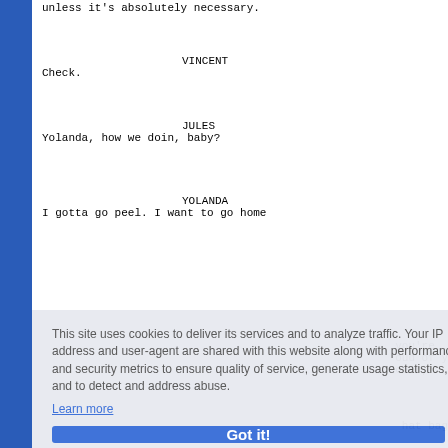unless it's absolutely necessary.
VINCENT
Check.
JULES
Yolanda, how we doin, baby?
YOLANDA
I gotta go peel. I want to go home
you're
oud of y
over,
hat bag
d
ugh -- t
ed on it
That's my bad Motherfucker. Now
open it up and take out the cash.
This site uses cookies to deliver its services and to analyze traffic. Your IP address and user-agent are shared with this website along with performance and security metrics to ensure quality of service, generate usage statistics, and to detect and address abuse.
Learn more
Got it!